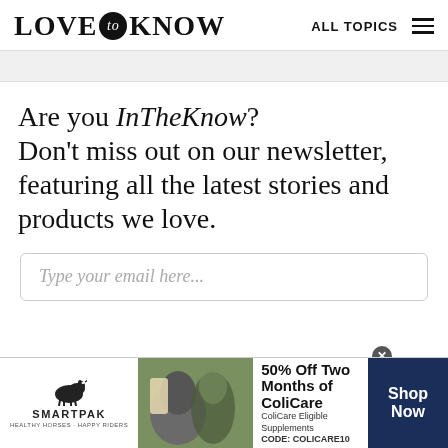LOVE to KNOW   ALL TOPICS
Are you InTheKnow? Don't miss out on our newsletter, featuring all the latest stories and products we love.
Type your email here...
[Figure (infographic): SmartPak advertisement banner: 50% Off Two Months of ColiCare, ColiCare Eligible Supplements, CODE: COLICARE10, with Shop Now button]